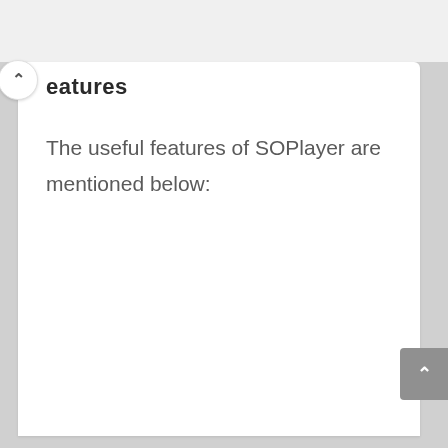eatures
The useful features of SOPlayer are mentioned below: